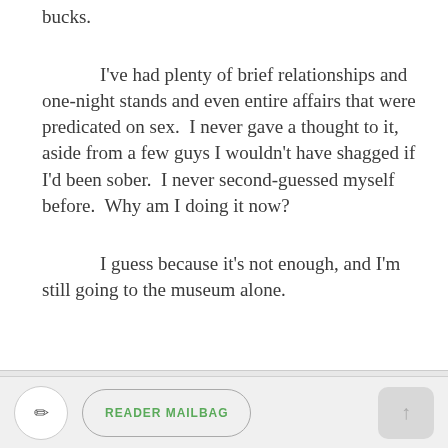bucks.
I've had plenty of brief relationships and one-night stands and even entire affairs that were predicated on sex.  I never gave a thought to it, aside from a few guys I wouldn't have shagged if I'd been sober.  I never second-guessed myself before.  Why am I doing it now?
I guess because it's not enough, and I'm still going to the museum alone.